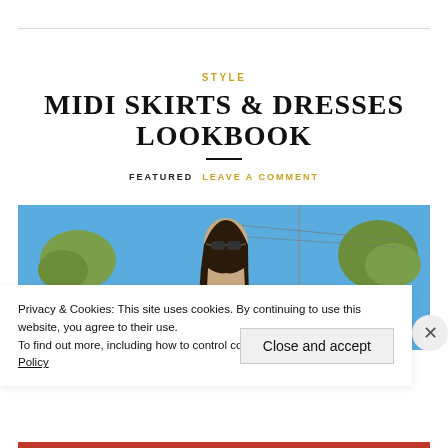STYLE
MIDI SKIRTS & DRESSES LOOKBOOK
FEATURED  LEAVE A COMMENT
[Figure (photo): Outdoor photo of a person with long dark hair wearing sunglasses, against a blue sky with trees in background]
Privacy & Cookies: This site uses cookies. By continuing to use this website, you agree to their use.
To find out more, including how to control cookies, see here: Cookie Policy
Close and accept